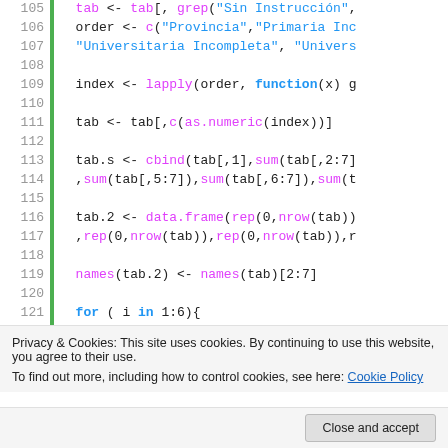[Figure (screenshot): R code editor screenshot showing lines 105-122 and 130 with syntax highlighting. Line numbers in grey on left, green vertical bar, code in black/pink/blue colors. Cookie consent banner overlays the bottom portion.]
Privacy & Cookies: This site uses cookies. By continuing to use this website, you agree to their use.
To find out more, including how to control cookies, see here: Cookie Policy
Close and accept